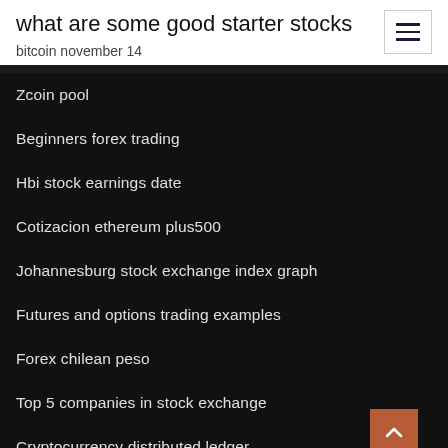what are some good starter stocks
bitcoin november 14
Zcoin pool
Beginners forex trading
Hbi stock earnings date
Cotizacion ethereum plus500
Johannesburg stock exchange index graph
Futures and options trading examples
Forex chilean peso
Top 5 companies in stock exchange
Cryptocurrency distributed ledger
Lmat stock earnings release